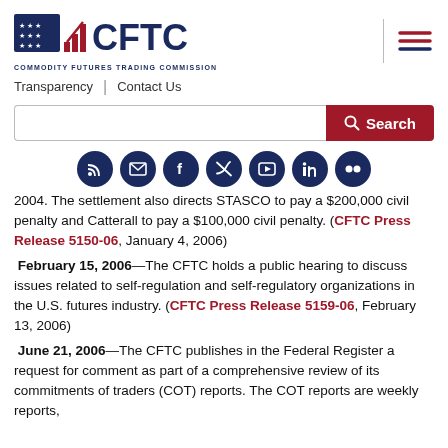CFTC - Commodity Futures Trading Commission
Transparency | Contact Us
Search bar
[Figure (other): Social media icons: RSS, email, Facebook, Twitter, YouTube, LinkedIn, Flickr]
2004. The settlement also directs STASCO to pay a $200,000 civil penalty and Catterall to pay a $100,000 civil penalty. (CFTC Press Release 5150-06, January 4, 2006)
February 15, 2006—The CFTC holds a public hearing to discuss issues related to self-regulation and self-regulatory organizations in the U.S. futures industry. (CFTC Press Release 5159-06, February 13, 2006)
June 21, 2006—The CFTC publishes in the Federal Register a request for comment as part of a comprehensive review of its commitments of traders (COT) reports. The COT reports are weekly reports,